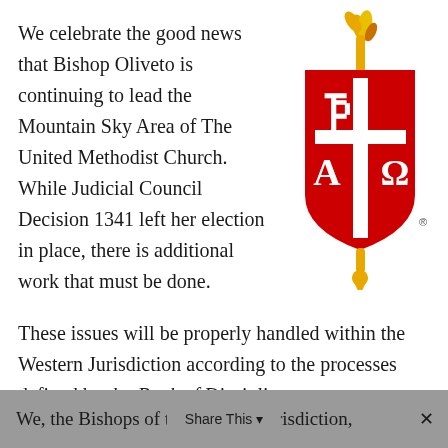We celebrate the good news that Bishop Oliveto is continuing to lead the Mountain Sky Area of The United Methodist Church. While Judicial Council Decision 1341 left her election in place, there is additional work that must be done.
[Figure (logo): United Methodist Church cross and flame logo: red shield with white Chi-Rho (Ρ), Alpha (Α) and Omega (Ω) symbols and a cross, topped with a golden flame/torch decoration and a registered trademark symbol.]
These issues will be properly handled within the Western Jurisdiction according to the processes defined by the Book of Discipline.
We, the Bishops of the Western Jurisdiction,